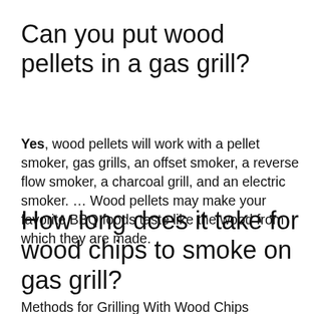Can you put wood pellets in a gas grill?
Yes, wood pellets will work with a pellet smoker, gas grills, an offset smoker, a reverse flow smoker, a charcoal grill, and an electric smoker. … Wood pellets may make your favorite BBQ foods taste like the wood from which they are made.
How long does it take for wood chips to smoke on gas grill?
Methods for Grilling With Wood Chips